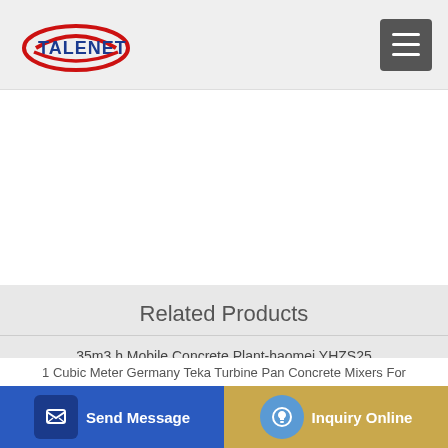TALENET
Related Products
35m3 h Mobile Concrete Plant-haomei YHZS25
IVECO TRAKER 450 concrete mixer truck for sale Lithuania Kaunas
1 Cubic Meter Germany Teka Turbine Pan Concrete Mixers For